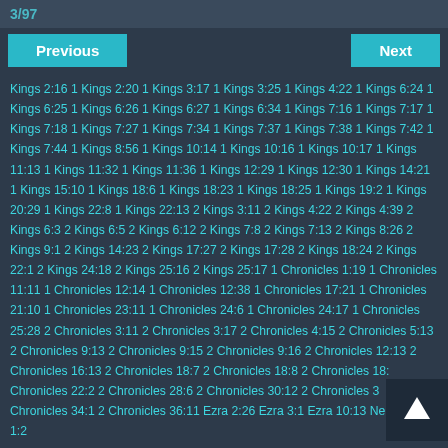3/97
Previous   Next
Kings 2:16 1 Kings 2:20 1 Kings 3:17 1 Kings 3:25 1 Kings 4:22 1 Kings 6:24 1 Kings 6:25 1 Kings 6:26 1 Kings 6:27 1 Kings 6:34 1 Kings 7:16 1 Kings 7:17 1 Kings 7:18 1 Kings 7:27 1 Kings 7:34 1 Kings 7:37 1 Kings 7:38 1 Kings 7:42 1 Kings 7:44 1 Kings 8:56 1 Kings 10:14 1 Kings 10:16 1 Kings 10:17 1 Kings 11:13 1 Kings 11:32 1 Kings 11:36 1 Kings 12:29 1 Kings 12:30 1 Kings 14:21 1 Kings 15:10 1 Kings 18:6 1 Kings 18:23 1 Kings 18:25 1 Kings 19:2 1 Kings 20:29 1 Kings 22:8 1 Kings 22:13 2 Kings 3:11 2 Kings 4:22 2 Kings 4:39 2 Kings 6:3 2 Kings 6:5 2 Kings 6:12 2 Kings 7:8 2 Kings 7:13 2 Kings 8:26 2 Kings 9:1 2 Kings 14:23 2 Kings 17:27 2 Kings 17:28 2 Kings 18:24 2 Kings 22:1 2 Kings 24:18 2 Kings 25:16 2 Kings 25:17 1 Chronicles 1:19 1 Chronicles 11:11 1 Chronicles 12:14 1 Chronicles 12:38 1 Chronicles 17:21 1 Chronicles 21:10 1 Chronicles 23:11 1 Chronicles 24:6 1 Chronicles 24:17 1 Chronicles 25:28 2 Chronicles 3:11 2 Chronicles 3:17 2 Chronicles 4:15 2 Chronicles 5:13 2 Chronicles 9:13 2 Chronicles 9:15 2 Chronicles 9:16 2 Chronicles 12:13 2 Chronicles 16:13 2 Chronicles 18:7 2 Chronicles 18:8 2 Chronicles 18: Chronicles 22:2 2 Chronicles 28:6 2 Chronicles 30:12 2 Chronicles 3 Chronicles 34:1 2 Chronicles 36:11 Ezra 2:26 Ezra 3:1 Ezra 10:13 Nehemiah 1:2